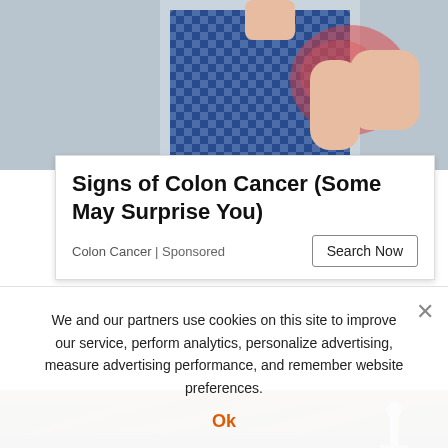[Figure (photo): Person in blue checkered shirt holding their lower back/abdomen area, suggesting pain or discomfort, with a pink/red highlight on the back area]
Signs of Colon Cancer (Some May Surprise You)
Colon Cancer | Sponsored
Search Now
[Figure (photo): Crawlspace or basement area showing dark wooden beams/joists overhead, brick columns, and metal support jacks in a dimly lit space]
We and our partners use cookies on this site to improve our service, perform analytics, personalize advertising, measure advertising performance, and remember website preferences.
Ok